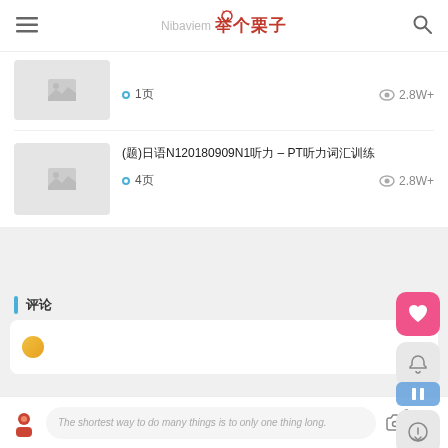举个栗子 (Nibaviem)
1页 · 2.8W+
(题)20180909日语N1听力 – PT听力词汇训练 · 4页 · 2.8W+
评论
相关推荐
The shortest way to do many things is to only one thing long.